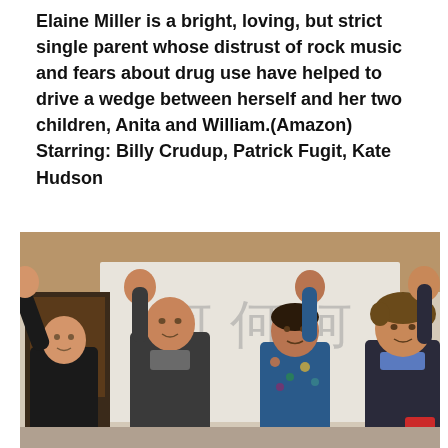Elaine Miller is a bright, loving, but strict single parent whose distrust of rock music and fears about drug use have helped to drive a wedge between herself and her two children, Anita and William.(Amazon) Starring: Billy Crudup, Patrick Fugit, Kate Hudson
[Figure (photo): Four people standing in a row waving at a press event with Japanese text/signage in the background. From left: a bald man in black, a taller man in dark shirt, a woman in floral dress, and a curly-haired man in suit.]